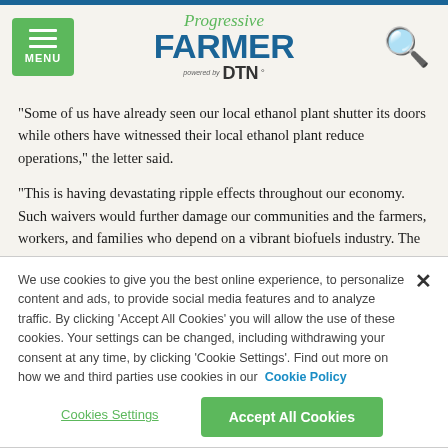Progressive FARMER powered by DTN
"Some of us have already seen our local ethanol plant shutter its doors while others have witnessed their local ethanol plant reduce operations," the letter said.
"This is having devastating ripple effects throughout our economy. Such waivers would further damage our communities and the farmers, workers, and families who depend on a vibrant biofuels industry. The unprecedented, nationwide COVID-19 pandemic is
We use cookies to give you the best online experience, to personalize content and ads, to provide social media features and to analyze traffic. By clicking 'Accept All Cookies' you will allow the use of these cookies. Your settings can be changed, including withdrawing your consent at any time, by clicking 'Cookie Settings'. Find out more on how we and third parties use cookies in our  Cookie Policy
Cookies Settings
Accept All Cookies